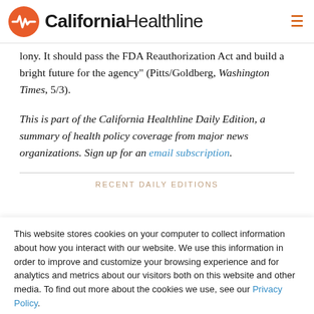California Healthline
lony. It should pass the FDA Reauthorization Act and build a bright future for the agency" (Pitts/Goldberg, Washington Times, 5/3).
This is part of the California Healthline Daily Edition, a summary of health policy coverage from major news organizations. Sign up for an email subscription.
RECENT DAILY EDITIONS
This website stores cookies on your computer to collect information about how you interact with our website. We use this information in order to improve and customize your browsing experience and for analytics and metrics about our visitors both on this website and other media. To find out more about the cookies we use, see our Privacy Policy.